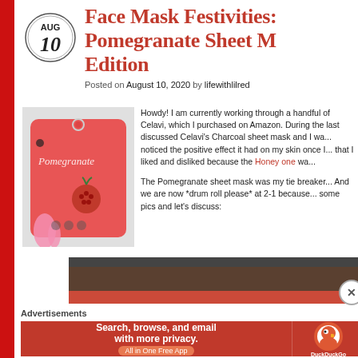Face Mask Festivities: Pomegranate Sheet Mask Edition
Posted on August 10, 2020 by lifewithlilred
[Figure (photo): Hand holding a pink/red Celavi Pomegranate sheet mask packet with pomegranate illustrations]
Howdy! I am currently working through a handful of Celavi, which I purchased on Amazon. During the last post I discussed Celavi’s Charcoal sheet mask and I was having noticed the positive effect it had on my skin once I... that I liked and disliked because the Honey one wa...
The Pomegranate sheet mask was my tie breaker... And we are now *drum roll please* at 2-1 because... some pics and let’s discuss:
[Figure (screenshot): Partial bottom image strip of a photo showing a wooden/brown surface]
Advertisements
[Figure (infographic): DuckDuckGo advertisement banner: Search, browse, and email with more privacy. All in One Free App.]